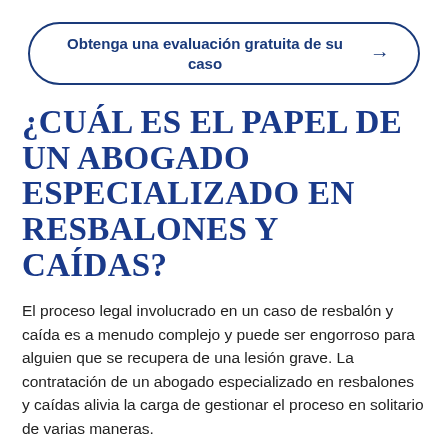[Figure (other): Button/CTA element with border reading 'Obtenga una evaluación gratuita de su caso' with a right arrow]
¿CUÁL ES EL PAPEL DE UN ABOGADO ESPECIALIZADO EN RESBALONES Y CAÍDAS?
El proceso legal involucrado en un caso de resbalón y caída es a menudo complejo y puede ser engorroso para alguien que se recupera de una lesión grave. La contratación de un abogado especializado en resbalones y caídas alivia la carga de gestionar el proceso en solitario de varias maneras.